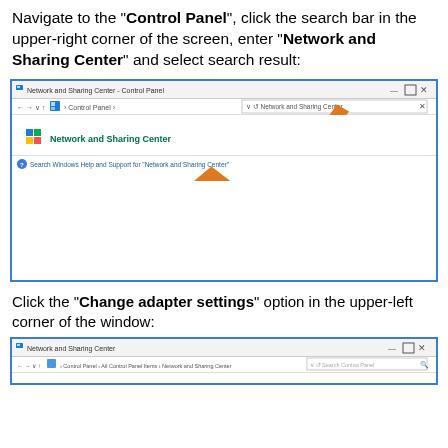Navigate to the "Control Panel", click the search bar in the upper-right corner of the screen, enter "Network and Sharing Center" and select search result:
[Figure (screenshot): Windows Control Panel search screenshot showing Network and Sharing Center search result with two orange arrows pointing to the search result item and the search bar]
Click the "Change adapter settings" option in the upper-left corner of the window:
[Figure (screenshot): Windows Network and Sharing Center window screenshot showing the title bar and address bar]